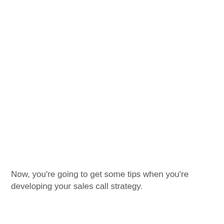Now, you're going to get some tips when you're developing your sales call strategy.